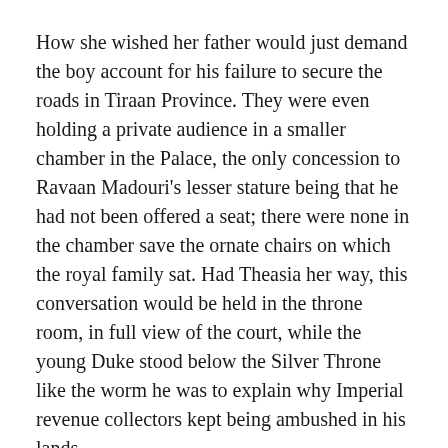How she wished her father would just demand the boy account for his failure to secure the roads in Tiraan Province. They were even holding a private audience in a smaller chamber in the Palace, the only concession to Ravaan Madouri's lesser stature being that he had not been offered a seat; there were none in the chamber save the ornate chairs on which the royal family sat. Had Theasia her way, this conversation would be held in the throne room, in full view of the court, while the young Duke stood below the Silver Throne like the worm he was to explain why Imperial revenue collectors kept being ambushed in his lands.
“There have been enough of the incidents now that it cannot be a coincidence,” Ravaan agreed, nodding with such a perfectly convincing expression of thought that Theasia itched to lunge from her chair and claw it off his face. She contented herself with drumming her fingers once on the